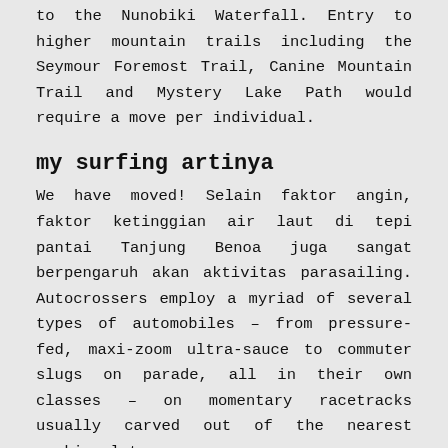to the Nunobiki Waterfall. Entry to higher mountain trails including the Seymour Foremost Trail, Canine Mountain Trail and Mystery Lake Path would require a move per individual.
my surfing artinya
We have moved! Selain faktor angin, faktor ketinggian air laut di tepi pantai Tanjung Benoa juga sangat berpengaruh akan aktivitas parasailing. Autocrossers employ a myriad of several types of automobiles – from pressure-fed, maxi-zoom ultra-sauce to commuter slugs on parade, all in their own classes – on momentary racetracks usually carved out of the nearest parking lot.
Few particulars are identified about plans for enforcement, but some new fencing has been put in at Mount Seymour, funnelling hikers through one space to achieve the park